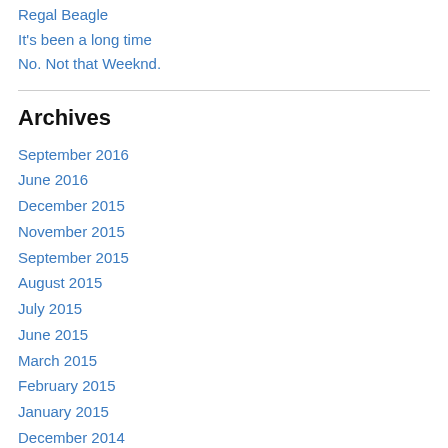Regal Beagle
It's been a long time
No. Not that Weeknd.
Archives
September 2016
June 2016
December 2015
November 2015
September 2015
August 2015
July 2015
June 2015
March 2015
February 2015
January 2015
December 2014
October 2014